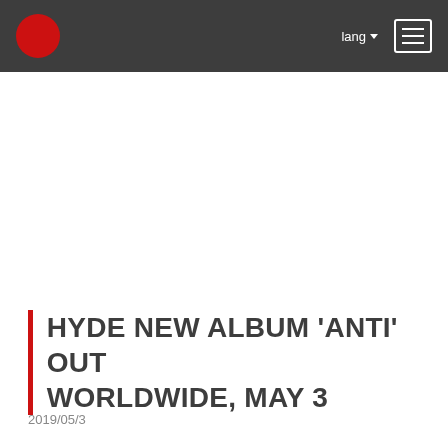lang ▾  ☰
HYDE NEW ALBUM 'ANTI' OUT WORLDWIDE, MAY 3
2019/05/3